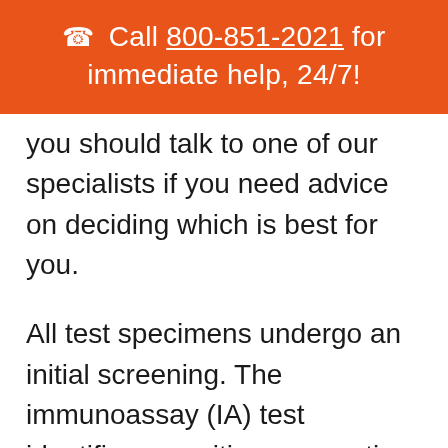📞 Call 800-851-2021 for immediate help, 24/7!
you should talk to one of our specialists if you need advice on deciding which is best for you.
All test specimens undergo an initial screening. The immunoassay (IA) test identifies a positive or negative result. Most drug tests are negative and this cost-efficient test saves employers money because no further testing is